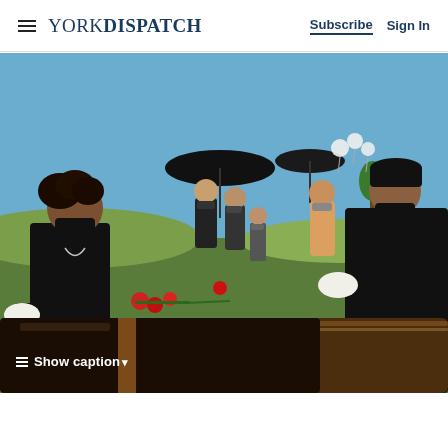YORK DISPATCH | Subscribe  Sign In
[Figure (photo): Funeral scene outdoors: people dressed in black wearing face masks place red roses on a dark wooden coffin. A young man with white gloves holds a rose on the left, another young man on the right leans over the casket. A group of masked mourners stands in the background under umbrellas in a green field under blue sky.]
Show caption ▾